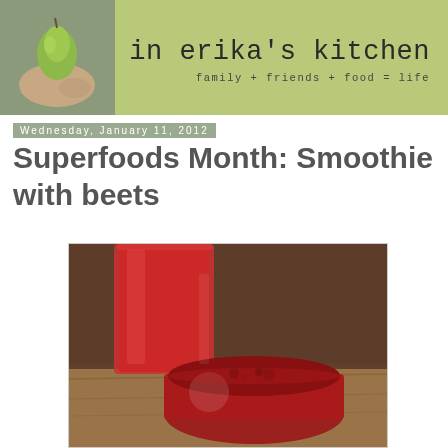in erika's kitchen — family + friends + food = life
Wednesday, January 11, 2012
Superfoods Month: Smoothie with beets
[Figure (photo): Photo of beet smoothies in glasses on a wooden table — a tall glass filled with bright red smoothie and a shorter round glass with deep red smoothie, on a warm wooden surface]